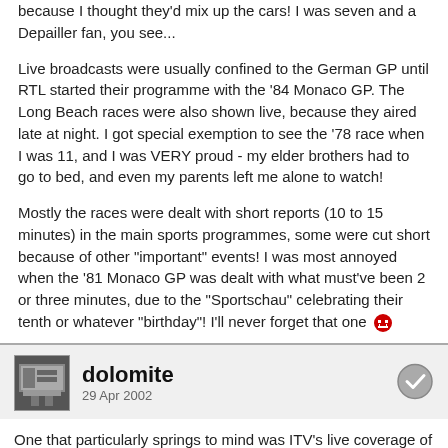because I thought they'd mix up the cars! I was seven and a Depailler fan, you see...
Live broadcasts were usually confined to the German GP until RTL started their programme with the '84 Monaco GP. The Long Beach races were also shown live, because they aired late at night. I got special exemption to see the '78 race when I was 11, and I was VERY proud - my elder brothers had to go to bed, and even my parents left me alone to watch!
Mostly the races were dealt with short reports (10 to 15 minutes) in the main sports programmes, some were cut short because of other "important" events! I was most annoyed when the '81 Monaco GP was dealt with what must've been 2 or three minutes, due to the "Sportschau" celebrating their tenth or whatever "birthday"! I'll never forget that one 😡
dolomite
29 Apr 2002
One that particularly springs to mind was ITV's live coverage of the '78 Monaco GP, which took place the day after the FA cup final. We